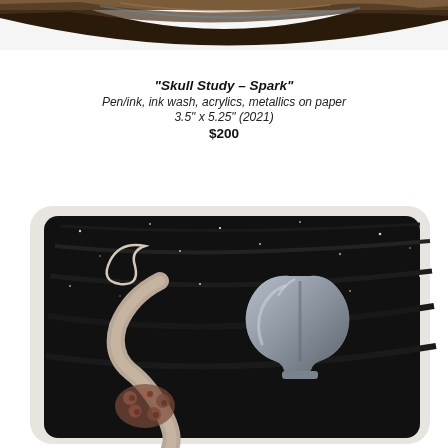[Figure (photo): Partial view of an artwork — top edge of a small painting on dark background with earthy/metallic tones, cropped at top of page]
"Skull Study – Spark"
Pen/ink, ink wash, acrylics, metallics on paper
3.5" x 5.25" (2021)
$200
[Figure (photo): Lower portion of a small artwork painting showing tentacle-like forms and a skull-like metallic shape on a dark black sparkly background, rounded white border visible]